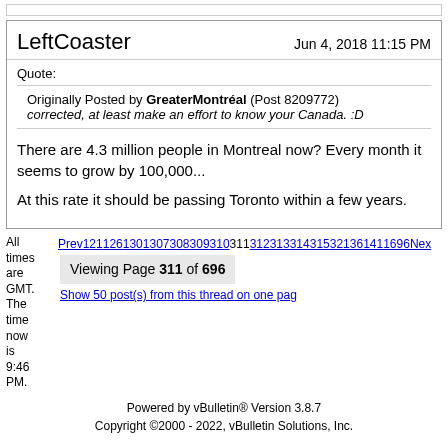LeftCoaster — Jun 4, 2018 11:15 PM
Quote:
Originally Posted by GreaterMontréal (Post 8209772)
corrected, at least make an effort to know your Canada. :D
There are 4.3 million people in Montreal now? Every month it seems to grow by 100,000...

At this rate it should be passing Toronto within a few years.
All times are GMT. The time now is 9:46 PM.
Prev 121 126 130 130 73 08 309 310 311 312 313 314 315 321 361 411 696 Next
Viewing Page 311 of 696
Show 50 post(s) from this thread on one page
Powered by vBulletin® Version 3.8.7
Copyright ©2000 - 2022, vBulletin Solutions, Inc.